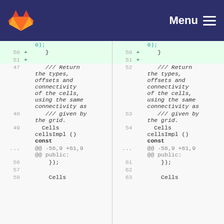Menu
[Figure (screenshot): GitLab code diff view showing two panels (old and new) of C++ source code. Left panel shows lines 47-58, right panel shows lines 50-63. Added lines 50-51 are highlighted in green. Code includes comments about returning types/offsets/connectivity of cells, and cellsImpl() const method declarations.]